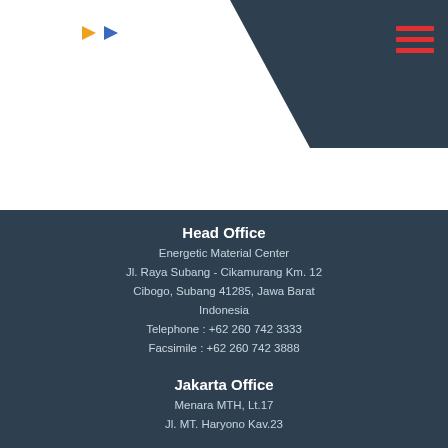[Figure (logo): Company logo with two small triangles (orange and blue) in the header area, alongside a dark diagonal banner and red hamburger menu icon]
Head Office
Energetic Material Center
Jl. Raya Subang - Cikamurang Km. 12
Cibogo, Subang 41285, Jawa Barat
Indonesia
Telephone : +62 260 742 3333
Facsimile : +62 260 742 3888
Jakarta Office
Menara MTH, Lt.17
Jl. MT. Haryono Kav.23